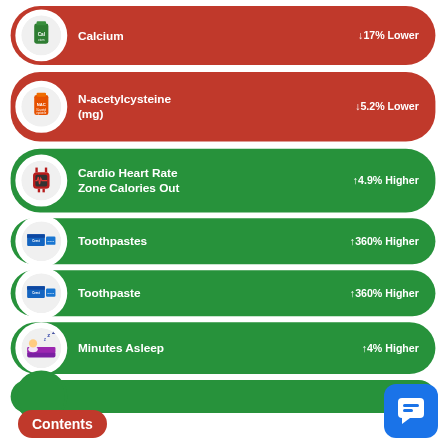[Figure (infographic): Calcium supplement pill bottle icon with red background row showing ↓17% Lower]
[Figure (infographic): N-acetylcysteine (NAC) supplement bottle icon with red background row showing ↓5.2% Lower]
[Figure (infographic): Fitness tracker/heart rate monitor icon with green background row showing Cardio Heart Rate Zone Calories Out ↑4.9% Higher]
[Figure (infographic): Toothpaste product icon with green background row showing Toothpastes ↑360% Higher]
[Figure (infographic): Toothpaste product icon with green background row showing Toothpaste ↑360% Higher]
[Figure (infographic): Sleep icon with green background row showing Minutes Asleep ↑4% Higher]